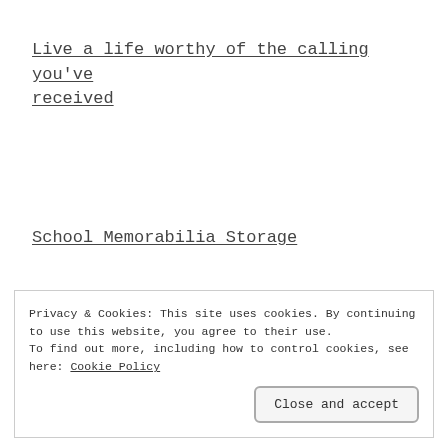Live a life worthy of the calling you've received
School Memorabilia Storage
I Survived
Privacy & Cookies: This site uses cookies. By continuing to use this website, you agree to their use.
To find out more, including how to control cookies, see here: Cookie Policy
Close and accept